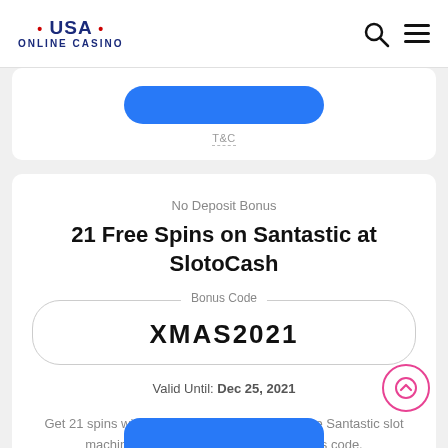• USA • ONLINE CASINO
T&C
No Deposit Bonus
21 Free Spins on Santastic at SlotoCash
Bonus Code
XMAS2021
Valid Until: Dec 25, 2021
Get 21 spins with no deposit required to play the Santastic slot machine at SlotoCash by using this bonus code.